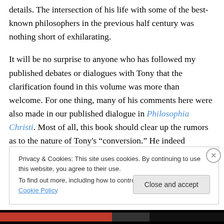details. The intersection of his life with some of the best-known philosophers in the previous half century was nothing short of exhilarating.
It will be no surprise to anyone who has followed my published debates or dialogues with Tony that the clarification found in this volume was more than welcome. For one thing, many of his comments here were also made in our published dialogue in Philosophia Christi. Most of all, this book should clear up the rumors as to the nature of Tony's “conversion.” He indeed believes in God,
Privacy & Cookies: This site uses cookies. By continuing to use this website, you agree to their use.
To find out more, including how to control cookies, see here: Cookie Policy